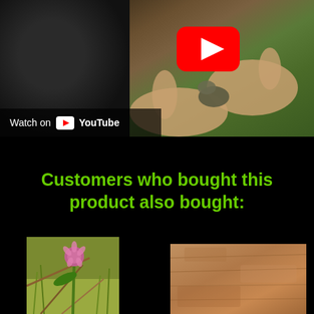[Figure (screenshot): YouTube video thumbnail showing hands holding a small creature near a tree trunk in a forest setting, with a YouTube play button overlay and 'Watch on YouTube' label in the bottom left corner]
Customers who bought this product also bought:
[Figure (photo): Photo of a plant with pink/purple thistle-like flower and green stems against a grassy background]
[Figure (photo): Photo showing a close-up of what appears to be bark or soil texture in brown/tan tones]